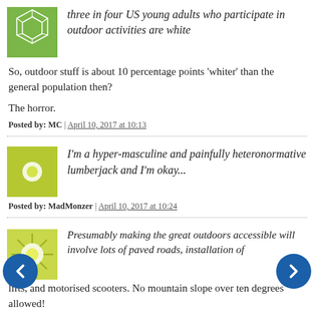three in four US young adults who participate in outdoor activities are white
So, outdoor stuff is about 10 percentage points 'whiter' than the general population then?
The horror.
Posted by: MC | April 10, 2017 at 10:13
I'm a hyper-masculine and painfully heteronormative lumberjack and I'm okay...
Posted by: MadMonzer | April 10, 2017 at 10:24
Presumably making the great outdoors accessible will involve lots of paved roads, installation of lifts, and motorised scooters. No mountain slope over ten degrees allowed!